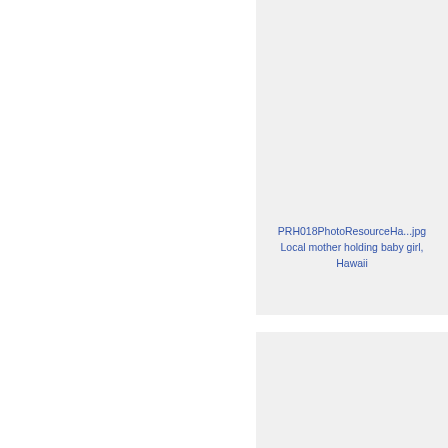[Figure (photo): Photo of a local mother holding a baby girl, smiling, Hawaii]
PRH018PhotoResourceHa...jpg
Local mother holding baby girl, Hawaii
[Figure (photo): Landscape photo of green mountains with clouds and a river/pond in the foreground, Hawaii]